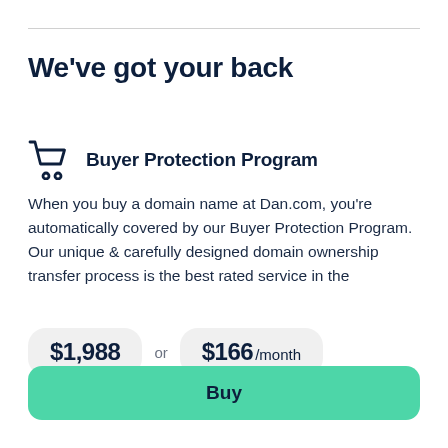We've got your back
Buyer Protection Program
When you buy a domain name at Dan.com, you're automatically covered by our Buyer Protection Program. Our unique & carefully designed domain ownership transfer process is the best rated service in the
$1,988 or $166 /month
Buy